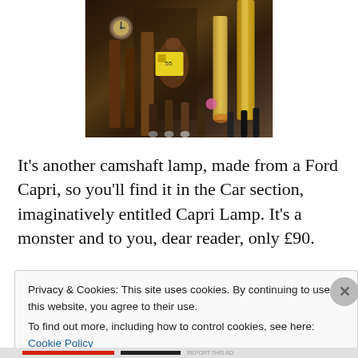[Figure (photo): Close-up photograph of various camshaft lamps and workshop tools including cylindrical metal objects, wooden handles, a small clock, and other vintage items arranged on a surface.]
It's another camshaft lamp, made from a Ford Capri, so you'll find it in the Car section, imaginatively entitled Capri Lamp. It's a monster and to you, dear reader, only £90.
Privacy & Cookies: This site uses cookies. By continuing to use this website, you agree to their use.
To find out more, including how to control cookies, see here: Cookie Policy
Close and accept